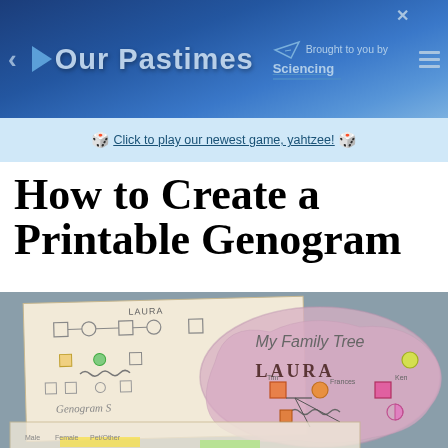Our Pastimes — Brought to you by Sciencing
🎲 Click to play our newest game, yahtzee! 🎲
How to Create a Printable Genogram
[Figure (photo): Photograph of handmade genogram papers including a pink blob-shaped family tree for Laura with colored shapes representing family members, and another paper showing a genogram symbol key.]